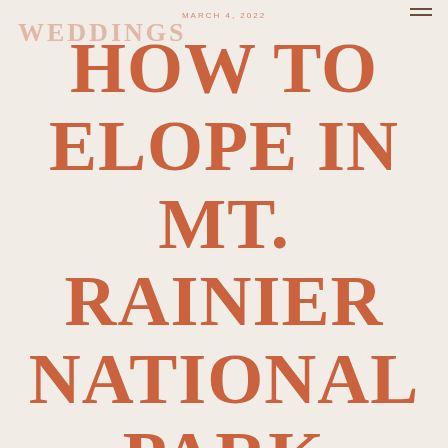MARCH 4, 2022
WEDDINGS
HOW TO ELOPE IN MT. RAINIER NATIONAL PARK